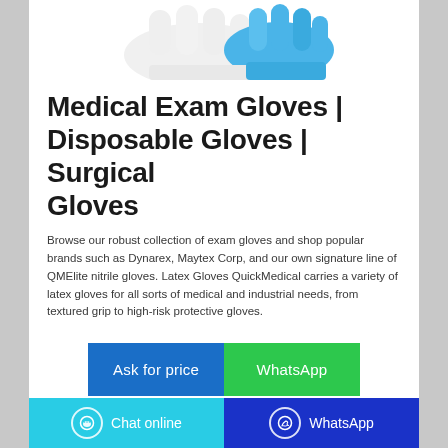[Figure (photo): Product photo of medical/surgical gloves — white and blue gloves visible from above against white background]
Medical Exam Gloves | Disposable Gloves | Surgical Gloves
Browse our robust collection of exam gloves and shop popular brands such as Dynarex, Maytex Corp, and our own signature line of QMElite nitrile gloves. Latex Gloves QuickMedical carries a variety of latex gloves for all sorts of medical and industrial needs, from textured grip to high-risk protective gloves.
Ask for price
WhatsApp
Chat online | WhatsApp